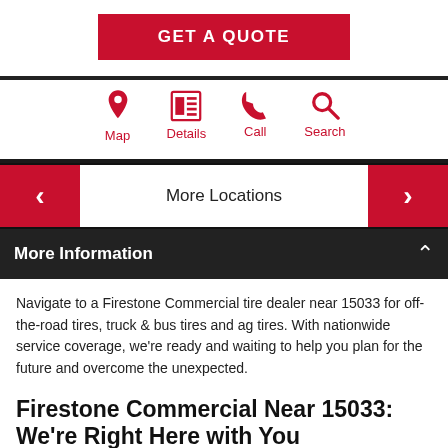GET A QUOTE
[Figure (infographic): Four red icons with labels: Map (location pin), Details (newspaper/document), Call (phone), Search (magnifying glass)]
More Locations
More Information
Navigate to a Firestone Commercial tire dealer near 15033 for off-the-road tires, truck & bus tires and ag tires. With nationwide service coverage, we're ready and waiting to help you plan for the future and overcome the unexpected.
Firestone Commercial Near 15033: We're Right Here with You